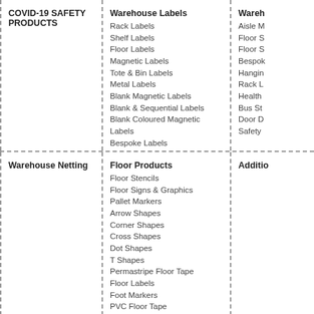COVID-19 SAFETY PRODUCTS
Warehouse Labels
Rack Labels
Shelf Labels
Floor Labels
Magnetic Labels
Tote & Bin Labels
Metal Labels
Blank Magnetic Labels
Blank & Sequential Labels
Blank Coloured Magnetic Labels
Bespoke Labels
Wareh...
Aisle M...
Floor S...
Floor S...
Bespok...
Hangin...
Rack L...
Health...
Bus St...
Door D...
Safety...
Warehouse Netting
Floor Products
Floor Stencils
Floor Signs & Graphics
Pallet Markers
Arrow Shapes
Corner Shapes
Cross Shapes
Dot Shapes
T Shapes
Permastripe Floor Tape
Floor Labels
Foot Markers
PVC Floor Tape
Anti-Slip Floor Products
Anti-Slip Floor Tape
Anti Slip Cleats & Treads
Anti Slip Floor Tape
Anti-Slip Sundry items
Additio...